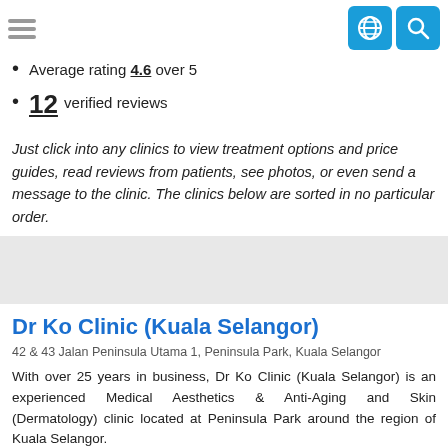Average rating 4.6 over 5
12 verified reviews
Just click into any clinics to view treatment options and price guides, read reviews from patients, see photos, or even send a message to the clinic. The clinics below are sorted in no particular order.
Dr Ko Clinic (Kuala Selangor)
42 & 43 Jalan Peninsula Utama 1, Peninsula Park, Kuala Selangor
With over 25 years in business, Dr Ko Clinic (Kuala Selangor) is an experienced Medical Aesthetics & Anti-Aging and Skin (Dermatology) clinic located at Peninsula Park around the region of Kuala Selangor.
With the aim of serving all types of patient needs, Dr Ko Clinic (Kuala Selangor) has a team of multiple doctors. The includ-